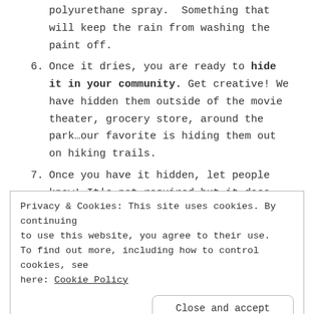polyurethane spray. Something that will keep the rain from washing the paint off.
6. Once it dries, you are ready to hide it in your community. Get creative! We have hidden them outside of the movie theater, grocery store, around the park…our favorite is hiding them out on hiking trails.
7. Once you have it hidden, let people know! It's not required but it does add to the fun of it all! Post either
Privacy & Cookies: This site uses cookies. By continuing to use this website, you agree to their use. To find out more, including how to control cookies, see here: Cookie Policy
Close and accept
they find a rock (which can be